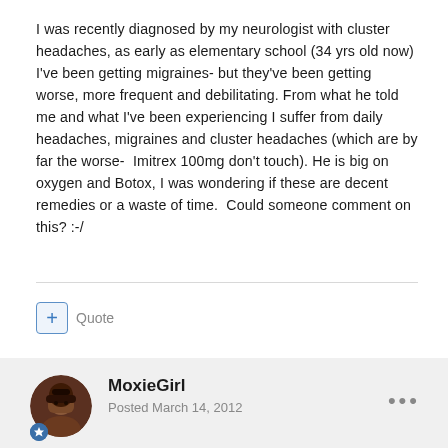I was recently diagnosed by my neurologist with cluster headaches, as early as elementary school (34 yrs old now) I've been getting migraines- but they've been getting worse, more frequent and debilitating. From what he told me and what I've been experiencing I suffer from daily headaches, migraines and cluster headaches (which are by far the worse-  Imitrex 100mg don't touch). He is big on oxygen and Botox, I was wondering if these are decent remedies or a waste of time.  Could someone comment on this? :-/
Quote
MoxieGirl
Posted March 14, 2012
Hi
You sound as bad as me. Daily chronics, typically 5 days out of 7.